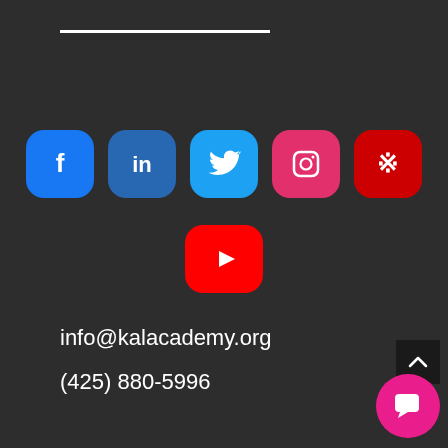[Figure (other): White horizontal divider line near top of page]
[Figure (other): Row of social media icon buttons: Facebook, LinkedIn, Twitter, Instagram, Yelp]
[Figure (other): YouTube icon button centered below social row]
info@kalacademy.org
(425) 880-5996
[Figure (other): Back to top arrow button (dark background with upward chevron)]
[Figure (other): Pink circular chat/messaging button with white chat icon]